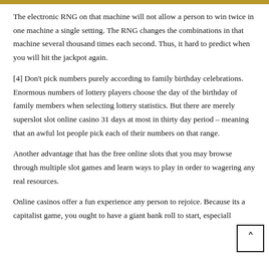The electronic RNG on that machine will not allow a person to win twice in one machine a single setting. The RNG changes the combinations in that machine several thousand times each second. Thus, it hard to predict when you will hit the jackpot again.
[4] Don't pick numbers purely according to family birthday celebrations. Enormous numbers of lottery players choose the day of the birthday of family members when selecting lottery statistics. But there are merely superslot slot online casino 31 days at most in thirty day period – meaning that an awful lot people pick each of their numbers on that range.
Another advantage that has the free online slots that you may browse through multiple slot games and learn ways to play in order to wagering any real resources.
Online casinos offer a fun experience any person to rejoice. Because its a capitalist game, you ought to have a giant bank roll to start, especially